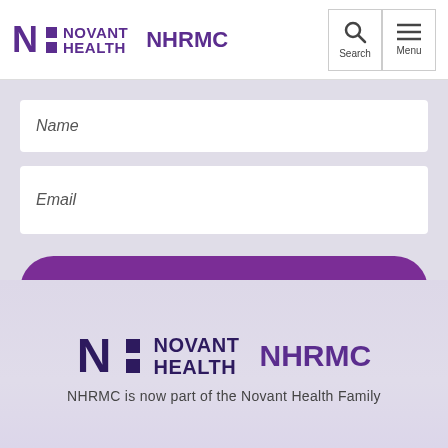[Figure (logo): Novant Health NHRMC logo in header with search and menu icons]
Name
Email
Subscribe
[Figure (logo): Novant Health NHRMC logo in footer]
NHRMC is now part of the Novant Health Family